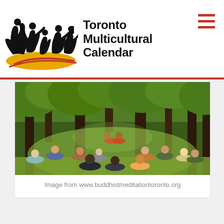[Figure (logo): Toronto Multicultural Calendar logo with silhouettes of multicultural dancers on a golden/yellow background with red streaks]
Toronto Multicultural Calendar
[Figure (photo): Outdoor Buddhist meditation gathering in a park/forest setting, people seated in a circle around two robed monks/teachers, surrounded by green trees]
Image from www.buddhistmeditationtoronto.org